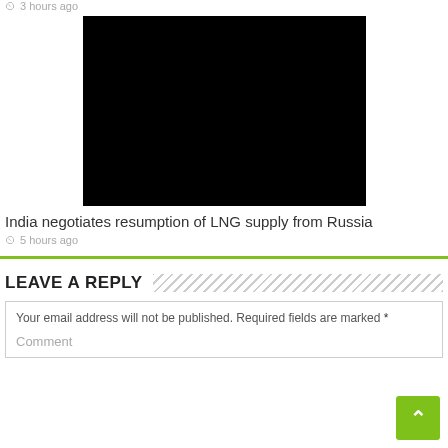3 hours ago
[Figure (photo): Black rectangle representing an embedded video or image placeholder]
India negotiates resumption of LNG supply from Russia
5 hours ago
LEAVE A REPLY
Your email address will not be published. Required fields are marked *
Comment